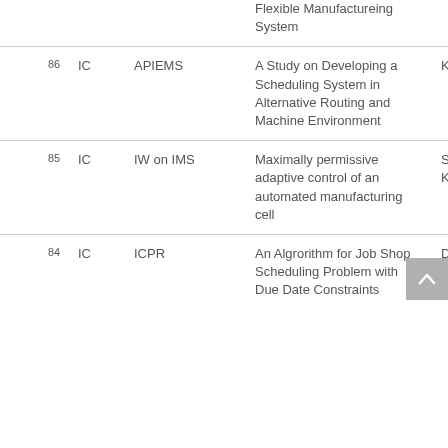| No. | Type | Conference | Title | Author |
| --- | --- | --- | --- | --- |
|  |  |  | Flexible Manufactureing System |  |
| 86 | IC | APIEMS | A Study on Developing a Scheduling System in Alternative Routing and Machine Environment | Kidong Kim |
| 85 | IC | IW on IMS | Maximally permissive adaptive control of an automated manufacturing cell | Sangkyun Kim |
| 84 | IC | ICPR | An Algrorithm for Job Shop Scheduling Problem with Due Date Constraints | Daeyoung Ch… |